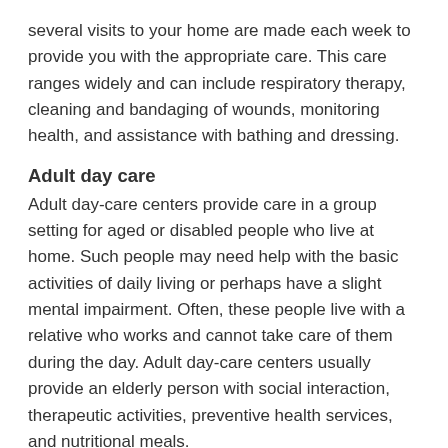several visits to your home are made each week to provide you with the appropriate care. This care ranges widely and can include respiratory therapy, cleaning and bandaging of wounds, monitoring health, and assistance with bathing and dressing.
Adult day care
Adult day-care centers provide care in a group setting for aged or disabled people who live at home. Such people may need help with the basic activities of daily living or perhaps have a slight mental impairment. Often, these people live with a relative who works and cannot take care of them during the day. Adult day-care centers usually provide an elderly person with social interaction, therapeutic activities, preventive health services, and nutritional meals.
Hospice care